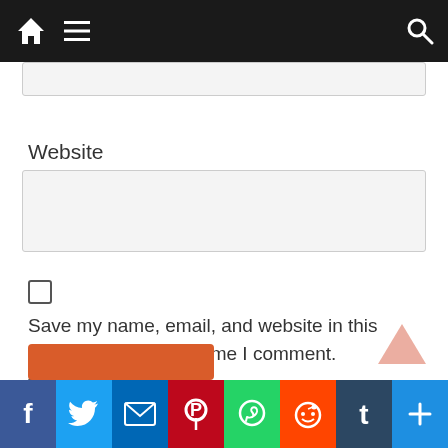[Figure (screenshot): Navigation bar with home icon, hamburger menu icon, and search icon on dark background]
Website
[Figure (screenshot): Website input text field (empty, light gray background)]
Save my name, email, and website in this browser for the next time I comment.
Notify me of follow-up comments by email.
Notify me of new posts by email.
[Figure (screenshot): Social sharing bottom bar with Facebook, Twitter, Email, Pinterest, WhatsApp, Reddit, Tumblr, and More buttons]